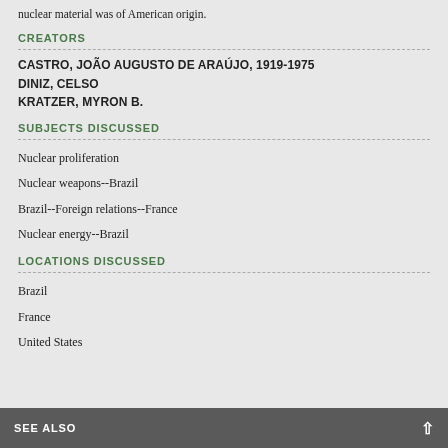nuclear material was of American origin.
CREATORS
CASTRO, JOÃO AUGUSTO DE ARAÚJO, 1919-1975
DINIZ, CELSO
KRATZER, MYRON B.
SUBJECTS DISCUSSED
Nuclear proliferation
Nuclear weapons--Brazil
Brazil--Foreign relations--France
Nuclear energy--Brazil
LOCATIONS DISCUSSED
Brazil
France
United States
SEE ALSO